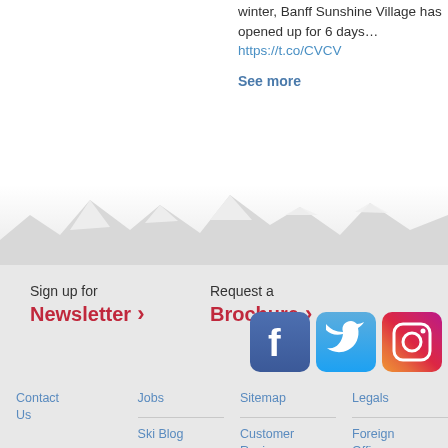winter, Banff Sunshine Village has opened up for 6 days… https://t.co/CVCV
See more
[Figure (illustration): Snow-capped mountain silhouette panorama]
Sign up for Newsletter >
Request a Brochure >
[Figure (logo): Facebook, Twitter, and Instagram social media icons]
Contact Us
Jobs
Sitemap
Legals
Ski Blog
Customer Reviews
Foreign Office Travel Advice